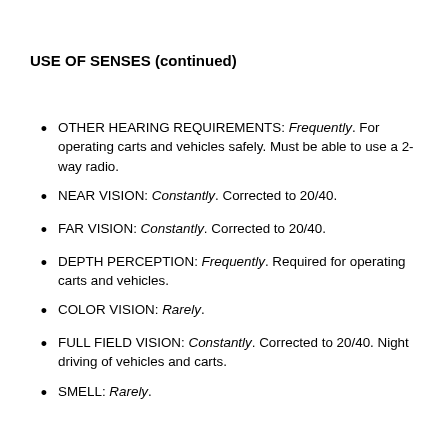USE OF SENSES (continued)
OTHER HEARING REQUIREMENTS: Frequently. For operating carts and vehicles safely. Must be able to use a 2-way radio.
NEAR VISION: Constantly. Corrected to 20/40.
FAR VISION: Constantly. Corrected to 20/40.
DEPTH PERCEPTION: Frequently. Required for operating carts and vehicles.
COLOR VISION: Rarely.
FULL FIELD VISION: Constantly. Corrected to 20/40. Night driving of vehicles and carts.
SMELL: Rarely.